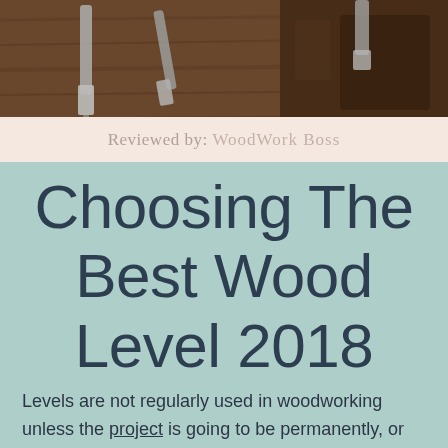[Figure (photo): Photo of woodworking tools including chisels and wooden blocks on a wooden surface]
Reviewed by: WoodWork Boss
Choosing The Best Wood Level 2018
Levels are not regularly used in woodworking unless the project is going to be permanently, or semi-permanently, mounted in relationship